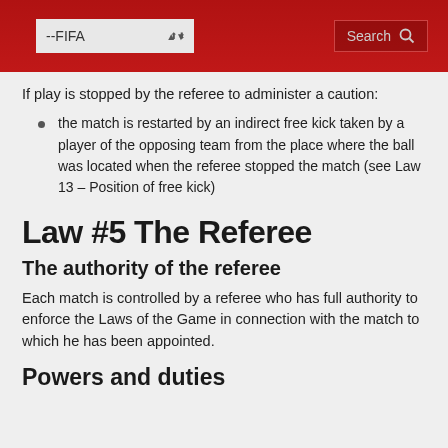--FIFA | Search
If play is stopped by the referee to administer a caution:
the match is restarted by an indirect free kick taken by a player of the opposing team from the place where the ball was located when the referee stopped the match (see Law 13 – Position of free kick)
Law #5 The Referee
The authority of the referee
Each match is controlled by a referee who has full authority to enforce the Laws of the Game in connection with the match to which he has been appointed.
Powers and duties